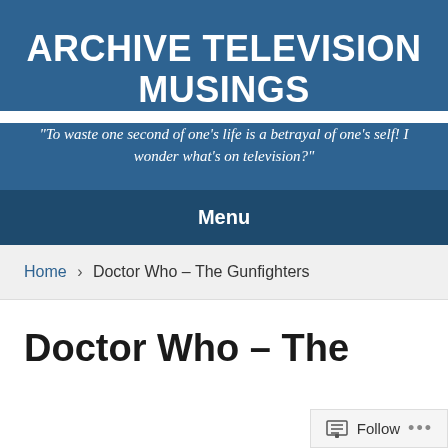ARCHIVE TELEVISION MUSINGS
"To waste one second of one's life is a betrayal of one's self! I wonder what's on television?"
Menu
Home > Doctor Who – The Gunfighters
Doctor Who – The